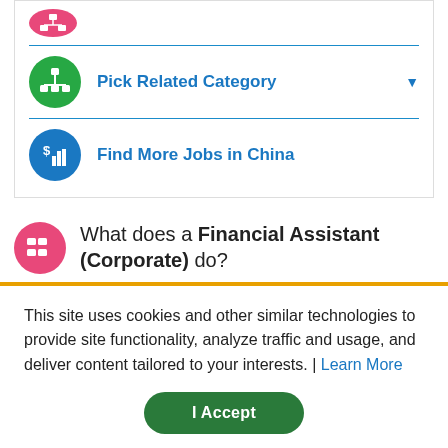[Figure (infographic): Green circle icon with network/hierarchy symbol]
Pick Related Category
[Figure (infographic): Blue circle icon with bar chart and dollar symbol]
Find More Jobs in China
What does a Financial Assistant (Corporate) do?
Financial Assistant (Corporate)
Saltillo, MX
This site uses cookies and other similar technologies to provide site functionality, analyze traffic and usage, and deliver content tailored to your interests. | Learn More
I Accept
2/21/2021